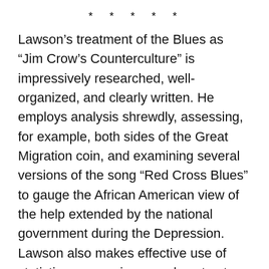* * * * *
Lawson’s treatment of the Blues as “Jim Crow’s Counterculture” is impressively researched, well-organized, and clearly written. He employs analysis shrewdly, assessing, for example, both sides of the Great Migration coin, and examining several versions of the song “Red Cross Blues” to gauge the African American view of the help extended by the national government during the Depression. Lawson also makes effective use of statistics, comparisons and contrasts, and a series of biographical sketches of important Blues men.
Racing through the post-World War II period in the last few pages of his book, Lawson contends, using the Leiber and Stoller composition, “Hound Dog,” as an example, that black and white musicians were able to rework the Blues